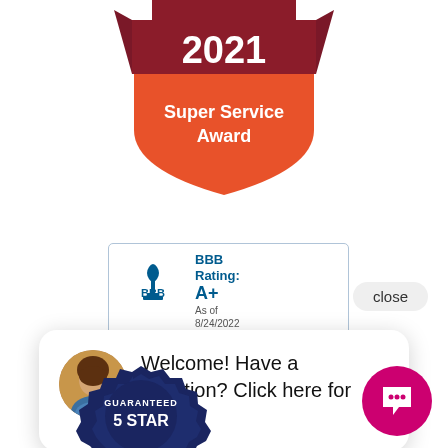[Figure (logo): Angie's Super Service Award 2021 badge - red shield shape with '2021' in white bold text and 'Super Service Award' text below on orange/red background]
[Figure (logo): BBB (Better Business Bureau) logo with BBB Rating: A+ As of 8/24/2022]
close
[Figure (infographic): Chat popup bubble with woman's avatar photo and text: Welcome! Have a question? Click here for texting!]
[Figure (logo): Guaranteed 5 Star badge - dark navy blue gear/seal shape]
[Figure (illustration): Pink circular chat/message button with quotation mark icon]